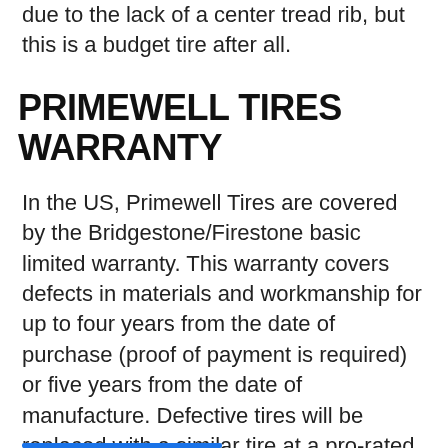due to the lack of a center tread rib, but this is a budget tire after all.
PRIMEWELL TIRES WARRANTY
In the US, Primewell Tires are covered by the Bridgestone/Firestone basic limited warranty. This warranty covers defects in materials and workmanship for up to four years from the date of purchase (proof of payment is required) or five years from the date of manufacture. Defective tires will be replaced with a similar tire at a pro-rated basis. Of note, many brands offer a free replacement if the defect occurs in the first year, but that’s not the case here.